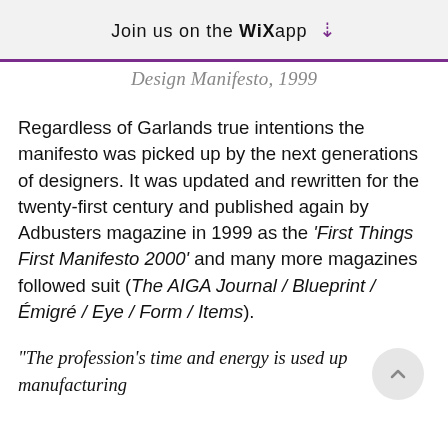Join us on the WiX app ↓
Design Manifesto, 1999
Regardless of Garlands true intentions the manifesto was picked up by the next generations of designers. It was updated and rewritten for the twenty-first century and published again by Adbusters magazine in 1999 as the 'First Things First Manifesto 2000' and many more magazines followed suit (The AIGA Journal / Blueprint / Émigré / Eye / Form / Items).
"The profession's time and energy is used up manufacturing